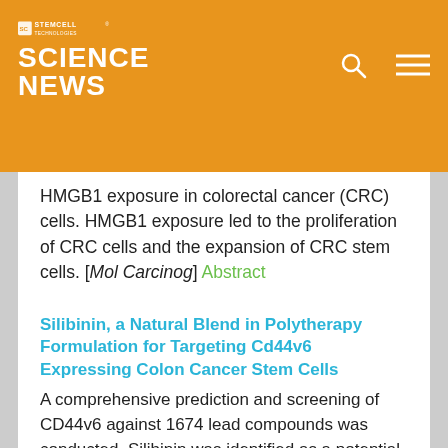STEMCELL SCIENCE NEWS
HMGB1 exposure in colorectal cancer (CRC) cells. HMGB1 exposure led to the proliferation of CRC cells and the expansion of CRC stem cells. [Mol Carcinog] Abstract
Silibinin, a Natural Blend in Polytherapy Formulation for Targeting Cd44v6 Expressing Colon Cancer Stem Cells
A comprehensive prediction and screening of CD44v6 against 1674 lead compounds was conducted. Silibinin was identified as a potential compound targeting CD44v6. In order to